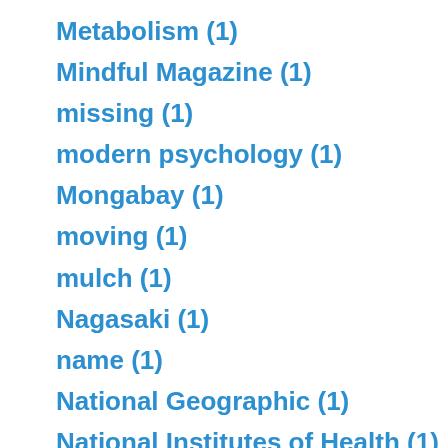Metabolism (1)
Mindful Magazine (1)
missing (1)
modern psychology (1)
Mongabay (1)
moving (1)
mulch (1)
Nagasaki (1)
name (1)
National Geographic (1)
National Institutes of Health (1)
nature (4)
Nature Conservancy (1)
nature park (1)
needing (1)
needles (1)